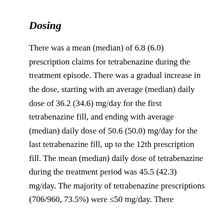Dosing
There was a mean (median) of 6.8 (6.0) prescription claims for tetrabenazine during the treatment episode. There was a gradual increase in the dose, starting with an average (median) daily dose of 36.2 (34.6) mg/day for the first tetrabenazine fill, and ending with average (median) daily dose of 50.6 (50.0) mg/day for the last tetrabenazine fill, up to the 12th prescription fill. The mean (median) daily dose of tetrabenazine during the treatment period was 45.5 (42.3) mg/day. The majority of tetrabenazine prescriptions (706/960, 73.5%) were ≤50 mg/day. There